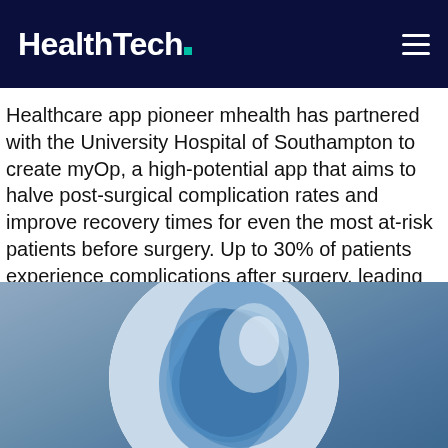HealthTech
Healthcare app pioneer mhealth has partnered with the University Hospital of Southampton to create myOp, a high-potential app that aims to halve post-surgical complication rates and improve recovery times for even the most at-risk patients before surgery. Up to 30% of patients experience complications after surgery, leading to an overall increase in healthcare costs, hospital [...]
[Figure (other): Social media share icons: Facebook, Twitter, Pinterest]
[Figure (photo): A circular cropped photo showing blue surgical draping or medical cloth on a muted blue-grey background]